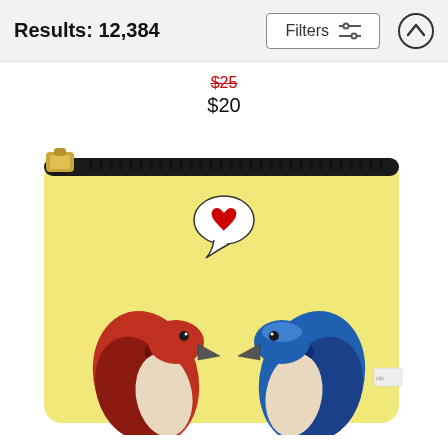Results: 12,384
Filters
$25 (strikethrough) $20
[Figure (photo): A yellow zipper pouch/clutch bag featuring two illustrated birds facing each other with a speech bubble containing a red heart between them. The left bird has red and brown plumage, the right bird has blue plumage. The pouch has a gold zipper with a gold zipper pull on the left side.]